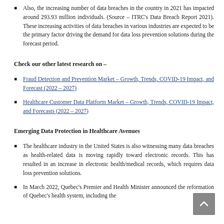Also, the increasing number of data breaches in the country in 2021 has impacted around 293.93 million individuals. (Source – ITRC's Data Breach Report 2021). These increasing activities of data breaches in various industries are expected to be the primary factor driving the demand for data loss prevention solutions during the forecast period.
Check our other latest research on –
Fraud Detection and Prevention Market – Growth, Trends, COVID-19 Impact, and Forecast (2022 – 2027)
Healthcare Customer Data Platform Market – Growth, Trends, COVID-19 Impact, and Forecasts (2022 – 2027)
Emerging Data Protection in Healthcare Avenues
The healthcare industry in the United States is also witnessing many data breaches as health-related data is moving rapidly toward electronic records. This has resulted in an increase in electronic health/medical records, which requires data loss prevention solutions.
In March 2022, Quebec's Premier and Health Minister announced the reformation of Quebec's health system, including the